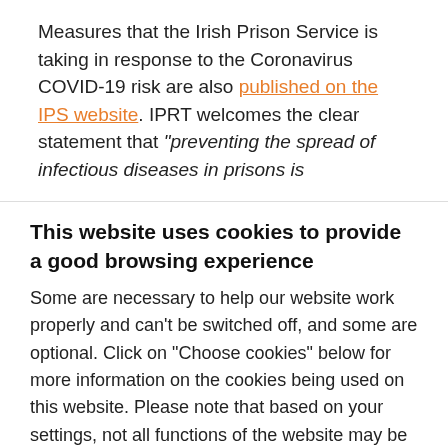Measures that the Irish Prison Service is taking in response to the Coronavirus COVID-19 risk are also published on the IPS website. IPRT welcomes the clear statement that "preventing the spread of infectious diseases in prisons is
This website uses cookies to provide a good browsing experience
Some are necessary to help our website work properly and can't be switched off, and some are optional. Click on "Choose cookies" below for more information on the cookies being used on this website. Please note that based on your settings, not all functions of the website may be available. You can manage your preferences by visiting "Cookie preferences" at the bottom of any page.
Accept all
Accept necessary cookies only